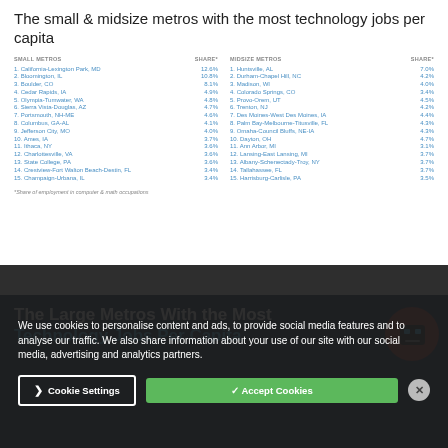The small & midsize metros with the most technology jobs per capita
| SMALL METROS | SHARE* | MIDSIZE METROS | SHARE* |
| --- | --- | --- | --- |
| 1. California-Lexington Park, MD | 12.6% | 1. Huntsville, AL | 7.0% |
| 2. Bloomington, IL | 10.8% | 2. Durham-Chapel Hill, NC | 4.2% |
| 3. Boulder, CO | 8.1% | 3. Madison, WI | 4.0% |
| 4. Cedar Rapids, IA | 4.9% | 4. Colorado Springs, CO | 3.4% |
| 5. Olympia-Tumwater, WA | 4.8% | 5. Provo-Orem, UT | 4.5% |
| 6. Sierra Vista-Douglas, AZ | 4.7% | 6. Trenton, NJ | 4.2% |
| 7. Portsmouth, NH-ME | 4.6% | 7. Des Moines-West Des Moines, IA | 4.4% |
| 8. Columbus, GA-AL | 4.1% | 8. Palm Bay-Melbourne-Titusville, FL | 4.3% |
| 9. Jefferson City, MO | 4.0% | 9. Omaha-Council Bluffs, NE-IA | 4.3% |
| 10. Ames, IA | 3.7% | 10. Dayton, OH | 4.7% |
| 11. Ithaca, NY | 3.6% | 11. Ann Arbor, MI | 3.1% |
| 12. Charlottesville, VA | 3.6% | 12. Lansing-East Lansing, MI | 3.7% |
| 13. State College, PA | 3.6% | 13. Albany-Schenectady-Troy, NY | 3.7% |
| 14. Crestview-Fort Walton Beach-Destin, FL | 3.4% | 14. Tallahassee, FL | 3.7% |
| 15. Champaign-Urbana, IL | 3.4% | 15. Harrisburg-Carlisle, PA | 3.5% |
*Share of employment in computer & math occupations
We use cookies to personalise content and ads, to provide social media features and to analyse our traffic. We also share information about your use of our site with our social media, advertising and analytics partners.
The Large Metros With the Most Technology Jobs Per Capita